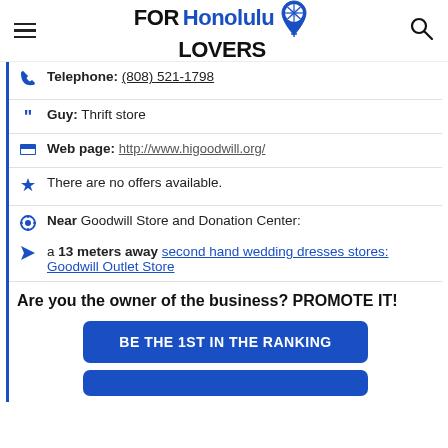FOR Honolulu LOVERS
Telephone: (808) 521-1798
Guy: Thrift store
Web page: http://www.higoodwill.org/
There are no offers available.
Near Goodwill Store and Donation Center:
a 13 meters away second hand wedding dresses stores: Goodwill Outlet Store
Are you the owner of the business? PROMOTE IT!
BE THE 1ST IN THE RANKING